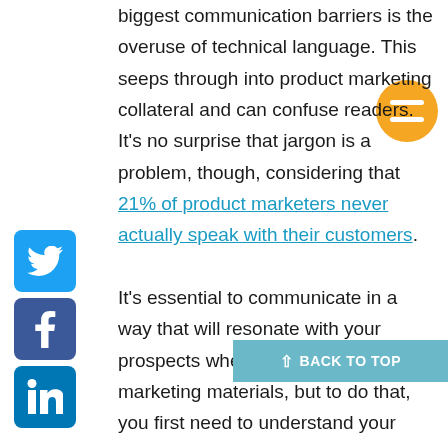biggest communication barriers is the overuse of technical language. This seeps through into product marketing collateral and can confuse readers. It's no surprise that jargon is a problem, though, considering that 21% of product marketers never actually speak with their customers.

It's essential to communicate in a way that will resonate with your prospects when developing product marketing materials, but to do that, you first need to understand your audience. From there, you can create content that gets your message across in
[Figure (infographic): Social sharing icons: Twitter (blue bird), Facebook (blue f), LinkedIn (blue in)]
[Figure (infographic): Orange/yellow circle with equals sign icon, top right]
[Figure (infographic): Back to top button: teal/blue bar with arrow and text BACK TO TOP]